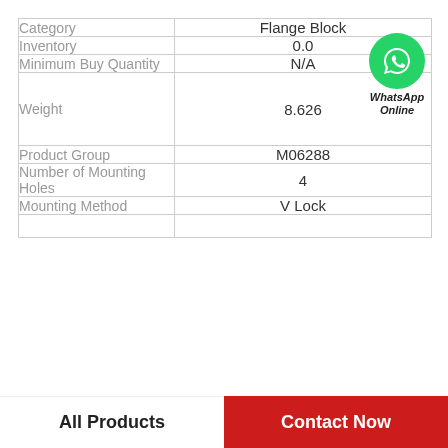| Field | Value |
| --- | --- |
| Category | Flange Block |
| Inventory | 0.0 |
| Minimum Buy Quantity | N/A |
| Weight | 8.626 |
| Product Group | M06288 |
| Number of Mounting Holes | 4 |
| Mounting Method | V Lock |
All Products   Contact Now